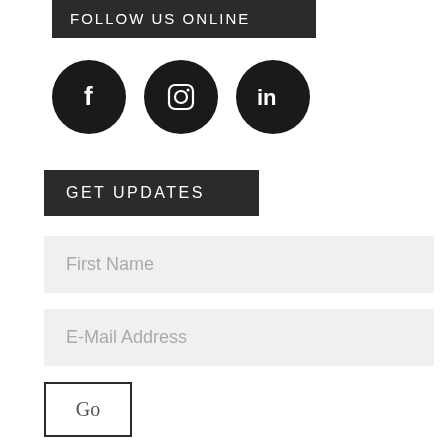FOLLOW US ONLINE
[Figure (infographic): Three black circular social media icons: Facebook (f), Instagram (camera), LinkedIn (in)]
GET UPDATES
First Name
E-Mail Address
Go